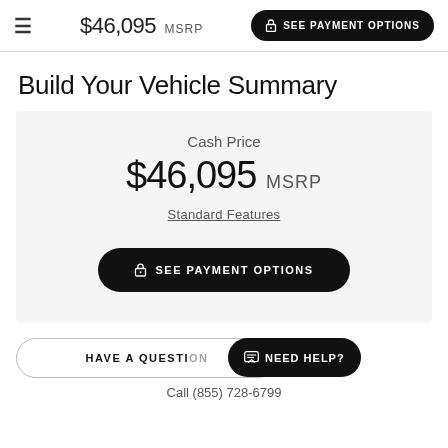$46,095 MSRP  SEE PAYMENT OPTIONS
Build Your Vehicle Summary
Cash Price
$46,095 MSRP
Standard Features
SEE PAYMENT OPTIONS
HAVE A QUESTION
NEED HELP?
Call (855) 728-6799